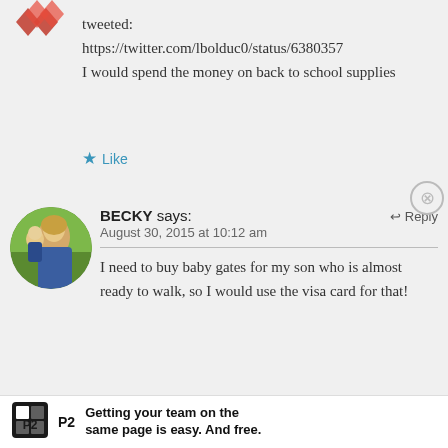[Figure (logo): Partial avatar with red diamond/cross shapes visible at top left]
tweeted:
https://twitter.com/lbolduc0/status/6380357
I would spend the money on back to school supplies
★ Like
[Figure (photo): Circular avatar photo of woman holding young child, outdoor green background]
BECKY says:
August 30, 2015 at 10:12 am
I need to buy baby gates for my son who is almost ready to walk, so I would use the visa card for that!
↩ Reply
Advertisements
[Figure (logo): P2 logo - black square with P2 text]
Getting your team on the same page is easy. And free.